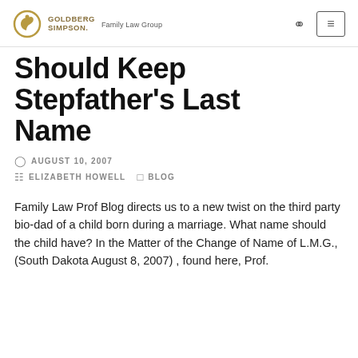GOLDBERG SIMPSON. Family Law Group
Should Keep Stepfather's Last Name
AUGUST 10, 2007
ELIZABETH HOWELL   BLOG
Family Law Prof Blog directs us to a new twist on the third party bio-dad of a child born during a marriage. What name should the child have? In the Matter of the Change of Name of L.M.G., (South Dakota August 8, 2007) , found here, Prof.